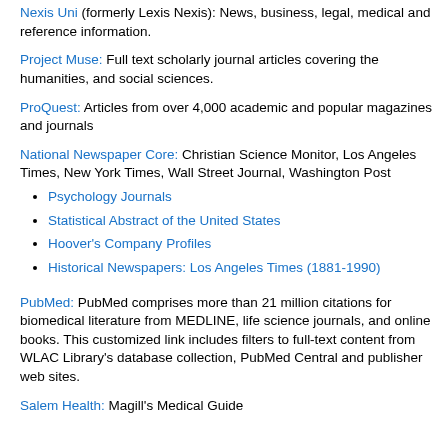Nexis Uni (formerly Lexis Nexis): News, business, legal, medical and reference information.
Project Muse: Full text scholarly journal articles covering the humanities, and social sciences.
ProQuest: Articles from over 4,000 academic and popular magazines and journals
National Newspaper Core: Christian Science Monitor, Los Angeles Times, New York Times, Wall Street Journal, Washington Post
Psychology Journals
Statistical Abstract of the United States
Hoover's Company Profiles
Historical Newspapers: Los Angeles Times (1881-1990)
PubMed: PubMed comprises more than 21 million citations for biomedical literature from MEDLINE, life science journals, and online books. This customized link includes filters to full-text content from WLAC Library's database collection, PubMed Central and publisher web sites.
Salem Health: Magill's Medical Guide